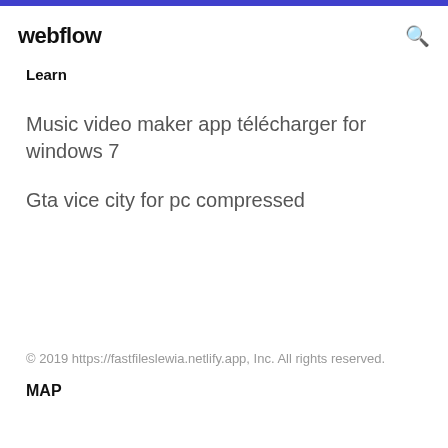webflow
Learn
Music video maker app télécharger for windows 7
Gta vice city for pc compressed
© 2019 https://fastfileslewia.netlify.app, Inc. All rights reserved.
MAP